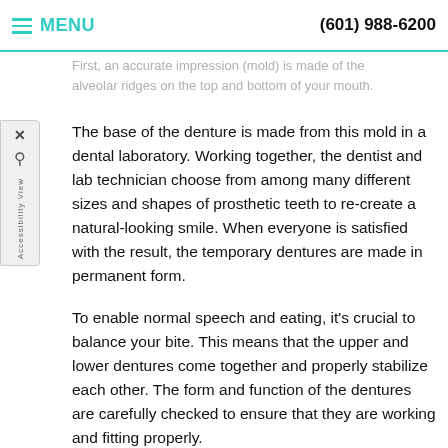≡ MENU   (601) 988-6200
First, an accurate impression (mold) is made of the alveolar ridges on the top and bottom of your mouth.
The base of the denture is made from this mold in a dental laboratory. Working together, the dentist and lab technician choose from among many different sizes and shapes of prosthetic teeth to re-create a natural-looking smile. When everyone is satisfied with the result, the temporary dentures are made in permanent form.
To enable normal speech and eating, it's crucial to balance your bite. This means that the upper and lower dentures come together and properly stabilize each other. The form and function of the dentures are carefully checked to ensure that they are working and fitting properly.
What to Expect After You Get Dentures